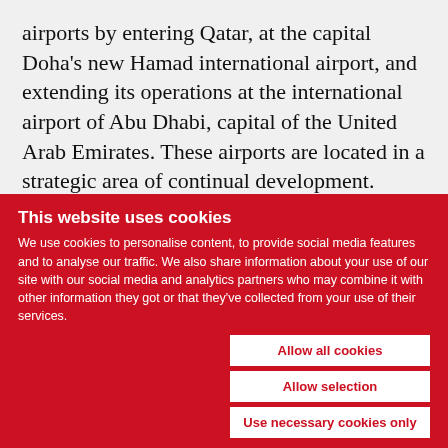airports by entering Qatar, at the capital Doha's new Hamad international airport, and extending its operations at the international airport of Abu Dhabi, capital of the United Arab Emirates. These airports are located in a strategic area of continual development.
At Abu Dhabi Airport, hub of flag airline Etihad Airways, the Group is strengthening its presence, having opened its first six points of sale two years ago and later added another two. HMSHost International,
This website uses cookies
We use cookies to personalise content, to provide social media features and to analyse our traffic. We also share information about your use of our site with our social media and analytics partners who may combine it with other information they got or that they've collected from your use of their services.
Allow all cookies
Allow selection
Use necessary cookies only